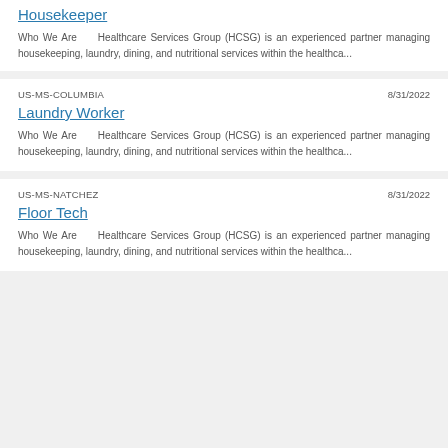Housekeeper
Who We Are    Healthcare Services Group (HCSG) is an experienced partner managing housekeeping, laundry, dining, and nutritional services within the healthca...
US-MS-COLUMBIA
8/31/2022
Laundry Worker
Who We Are    Healthcare Services Group (HCSG) is an experienced partner managing housekeeping, laundry, dining, and nutritional services within the healthca...
US-MS-NATCHEZ
8/31/2022
Floor Tech
Who We Are    Healthcare Services Group (HCSG) is an experienced partner managing housekeeping, laundry, dining, and nutritional services within the healthca...